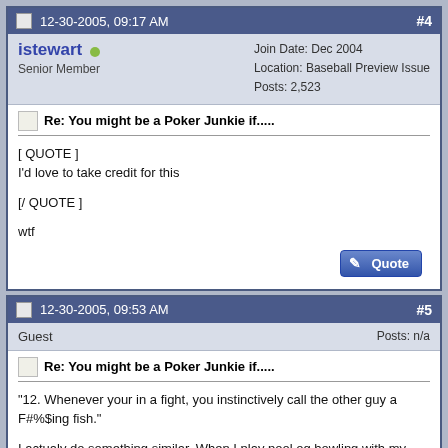12-30-2005, 09:17 AM #4
istewart  Senior Member | Join Date: Dec 2004 Location: Baseball Preview Issue Posts: 2,523
Re: You might be a Poker Junkie if.....
[ QUOTE ]
I'd love to take credit for this

[/ QUOTE ]

wtf
12-30-2005, 09:53 AM #5
Guest | Posts: n/a
Re: You might be a Poker Junkie if.....
"12. Whenever your in a fight, you instinctively call the other guy a F#%$ing fish."

I actualy do something similar. When I play pool og bowling with my friends and one of them makes a bad play I call him a fish instead of noob without even thinking.

And there is another thing that I noticed I do sometimes: